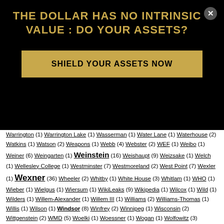THE DOLLAR HAS NO INTRINSIC VALUE : DO YOUR ASSETS?
SHIELD YOUR ASSETS NOW
Warrington (1) Warrington Lake (1) Wasserman (1) Water Lane (1) Waterhouse (2) Watkins (1) Watson (2) Weapons (1) Webb (4) Webster (2) WEF (1) Weibo (1) Weiner (6) Weingarten (1) Weinstein (16) Weishaupt (9) Weizsake (1) Welch (1) Wellesley College (1) Westminster (7) Westmoreland (2) West Point (7) Wexler (1) Wexner (36) Wheeler (2) Whitby (1) White House (3) Whitlam (1) WHO (1) Wieber (1) Wielgus (1) Wiersum (1) WikiLeaks (9) Wikipedia (1) Wilcox (1) Wild (1) Wilders (1) Willem-Alexander (1) Willem III (1) Williams (2) Williams-Thomas (1) Willis (1) Wilson (1) Windsor (8) Winfrey (2) Winnipeg (1) Wisconsin (2) Wittgenstein (2) WMD (5) Woelki (1) Woessner (1) Wogan (1) Wolfowitz (3) Wollschläger (1) Wood (5) Wood Commission (1) Woodward (1) Wooldrik (1) Woolsey (2) World Bank (4) World Health Organization (1) WRCB (1) WSJ (1) WTC (2) WWI (1) WWIII (2) Xiaobo (1) Xi Jingping (1) Yahoo (1) Yale (5) Yates (1) Yebamoth 98a (1) Yeldham (1) Yemen (1) Yiannopoulos (1) YMCA (2) Yorkshire (2) Yorkshire Ripper